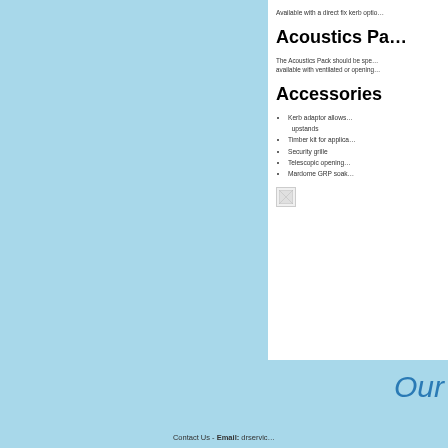Available with a direct fix kerb option
Acoustics Pack
The Acoustics Pack should be specified when available with ventilated or opening
Accessories
Kerb adaptor allows upstands
Timber kit for applications
Security grille
Telescopic opening
Mardome GRP soak
[Figure (photo): Small image placeholder]
Our
Contact Us - Email: drservice